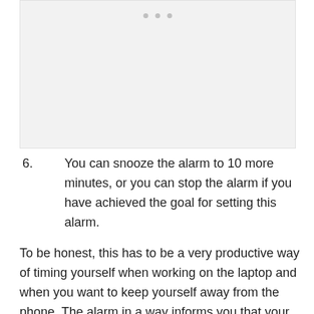[Figure (screenshot): Screenshot or image placeholder with a light gray background and three gray dots at the top center, representing a mobile app or UI screenshot.]
6. You can snooze the alarm to 10 more minutes, or you can stop the alarm if you have achieved the goal for setting this alarm.
To be honest, this has to be a very productive way of timing yourself when working on the laptop and when you want to keep yourself away from the phone. The alarm in a way informs you that your time is up for the task and now you need to move on to the next. This will increase your productivity. And